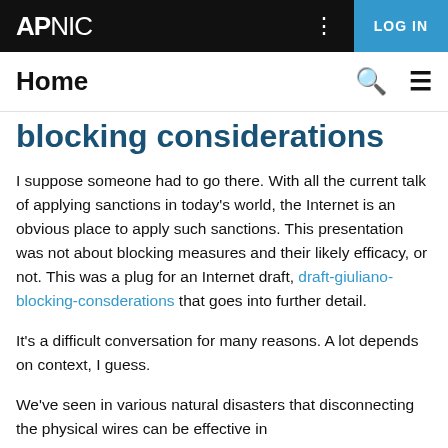APNIC  LOG IN
Home
blocking considerations
I suppose someone had to go there. With all the current talk of applying sanctions in today's world, the Internet is an obvious place to apply such sanctions. This presentation was not about blocking measures and their likely efficacy, or not. This was a plug for an Internet draft, draft-giuliano-blocking-consderations that goes into further detail.
It's a difficult conversation for many reasons. A lot depends on context, I guess.
We've seen in various natural disasters that disconnecting the physical wires can be effective in